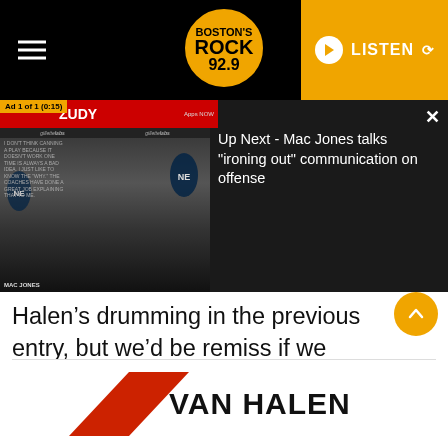Boston's Rock 92.9 — LISTEN
[Figure (screenshot): Video ad overlay showing Mac Jones press conference thumbnail with ZUDY Apps NOW banner, 'Ad 1 of 1 (0:15)' badge, and 'Up Next - Mac Jones talks "ironing out" communication on offense' text on dark background with close X button]
Halen's drumming in the previous entry, but we'd be remiss if we didn't do the same on “Everybody Wants Some!!” While not as frenetic as “Hot For Teacher,” the lengthy drum intro on “Everybody Wants Some!!” is just as infectious, as is its chorus.
[Figure (logo): Van Halen logo banner with red diagonal slash graphic and bold black VAN HALEN text on white background]